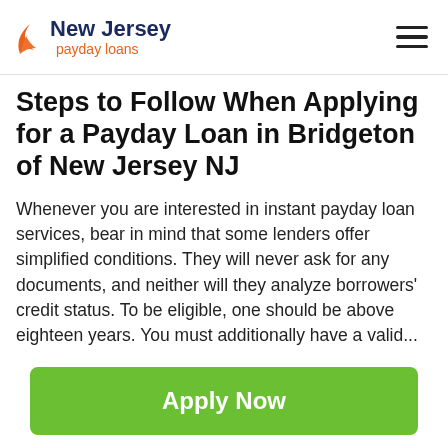New Jersey payday loans
Steps to Follow When Applying for a Payday Loan in Bridgeton of New Jersey NJ
Whenever you are interested in instant payday loan services, bear in mind that some lenders offer simplified conditions. They will never ask for any documents, and neither will they analyze borrowers' credit status. To be eligible, one should be above eighteen years. You must additionally have a valid...
[Figure (other): Apply Now button - green rounded rectangle CTA button]
Applying does NOT affect your credit score!
No credit check to apply.